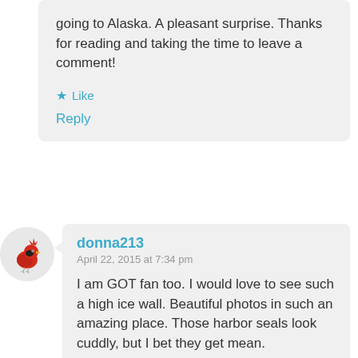going to Alaska. A pleasant surprise. Thanks for reading and taking the time to leave a comment!
★ Like
Reply
[Figure (illustration): Avatar of a red cardinal bird on a light gray circular background]
donna213
April 22, 2015 at 7:34 pm
I am GOT fan too. I would love to see such a high ice wall. Beautiful photos in such an amazing place. Those harbor seals look cuddly, but I bet they get mean.